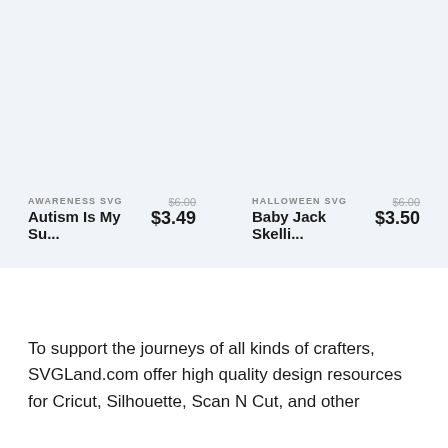AWARENESS SVG
Autism Is My Su...
$6.00 $3.49
HALLOWEEN SVG
Baby Jack Skelli...
$6.00 $3.50
To support the journeys of all kinds of crafters, SVGLand.com offer high quality design resources for Cricut, Silhouette, Scan N Cut, and other